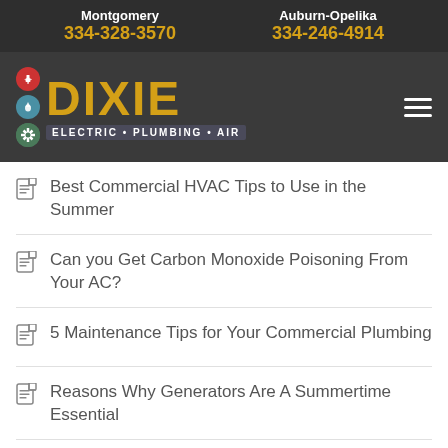Montgomery 334-328-3570 | Auburn-Opelika 334-246-4914
[Figure (logo): Dixie Electric Plumbing Air logo with colored icons on dark background]
Best Commercial HVAC Tips to Use in the Summer
Can you Get Carbon Monoxide Poisoning From Your AC?
5 Maintenance Tips for Your Commercial Plumbing
Reasons Why Generators Are A Summertime Essential
Categories